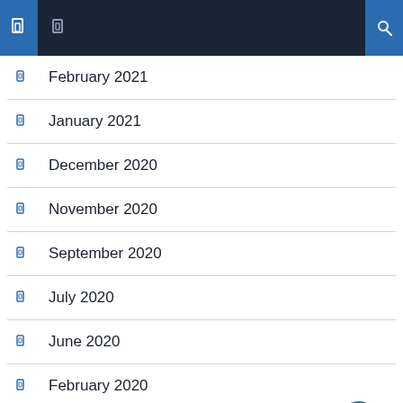Navigation header bar
February 2021
January 2021
December 2020
November 2020
September 2020
July 2020
June 2020
February 2020
January 2020
December 2019